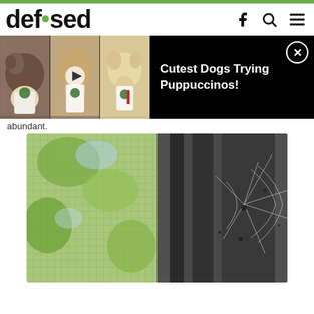defused
[Figure (screenshot): Advertisement banner showing dogs with Starbucks puppuccinos with text 'Cutest Dogs Trying Puppuccinos!']
abundant.
[Figure (photo): Photo of a window screen on the left side (green/blue mesh with foliage visible) and a dark window frame area on the right with cobwebs/spider webs visible]